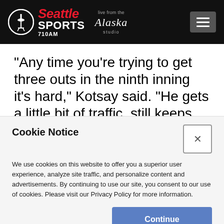[Figure (logo): Seattle Sports 710AM radio station logo with Alaska Airlines 'Live from the Alaska studio' branding and hamburger menu button on dark background header]
“Any time you’re trying to get three outs in the ninth inning it’s hard,” Kotsay said. “He gets a little bit of traffic, still keeps his composure.”
Cookie Notice
We use cookies on this website to offer you a superior user experience, analyze site traffic, and personalize content and advertisements. By continuing to use our site, you consent to our use of cookies. Please visit our Privacy Policy for more information.
Continue